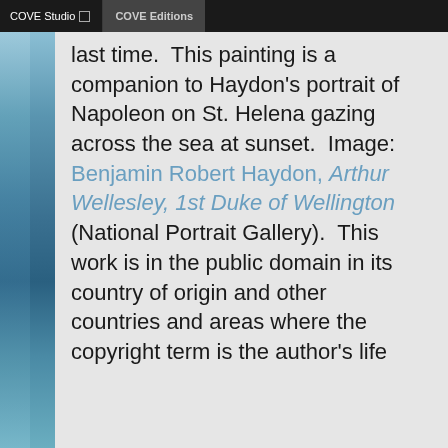COVE Studio  COVE Editions
last time.  This painting is a companion to Haydon's portrait of Napoleon on St. Helena gazing across the sea at sunset.  Image:  Benjamin Robert Haydon, Arthur Wellesley, 1st Duke of Wellington (National Portrait Gallery).  This work is in the public domain in its country of origin and other countries and areas where the copyright term is the author's life